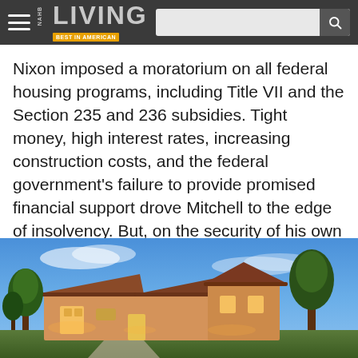NAHB LIVING — BEST IN AMERICAN
Nixon imposed a moratorium on all federal housing programs, including Title VII and the Section 235 and 236 subsidies. Tight money, high interest rates, increasing construction costs, and the federal government's failure to provide promised financial support drove Mitchell to the edge of insolvency. But, on the security of his own energy-based resources, Mitchell borrowed $15 million on the private markets and saved The Woodlands.
[Figure (photo): Exterior photo of a Mediterranean-style home at dusk with warm lighting, surrounded by trees against a blue sky]